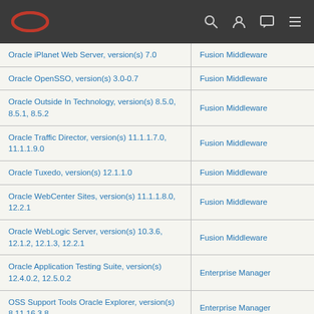Oracle navigation bar with logo and icons
| Product | Category |
| --- | --- |
| Oracle iPlanet Web Server, version(s) 7.0 | Fusion Middleware |
| Oracle OpenSSO, version(s) 3.0-0.7 | Fusion Middleware |
| Oracle Outside In Technology, version(s) 8.5.0, 8.5.1, 8.5.2 | Fusion Middleware |
| Oracle Traffic Director, version(s) 11.1.1.7.0, 11.1.1.9.0 | Fusion Middleware |
| Oracle Tuxedo, version(s) 12.1.1.0 | Fusion Middleware |
| Oracle WebCenter Sites, version(s) 11.1.1.8.0, 12.2.1 | Fusion Middleware |
| Oracle WebLogic Server, version(s) 10.3.6, 12.1.2, 12.1.3, 12.2.1 | Fusion Middleware |
| Oracle Application Testing Suite, version(s) 12.4.0.2, 12.5.0.2 | Enterprise Manager |
| OSS Support Tools Oracle Explorer, version(s) 8.11.16.3.8 | Enterprise Manager |
| Oracle E-Business Suite, version(s) 12.1.1, 12.1.2, 12.1.3, 12.2.3, 12.2.4, 12.2.5 | E-Business Suite |
| Oracle Agile Engineering Data Management, version(s) 6.1.3.0, 6.2.0.0 | Oracle Supply Chain Products |
| Oracle Agile PLM... | Oracle Supply Chain... |